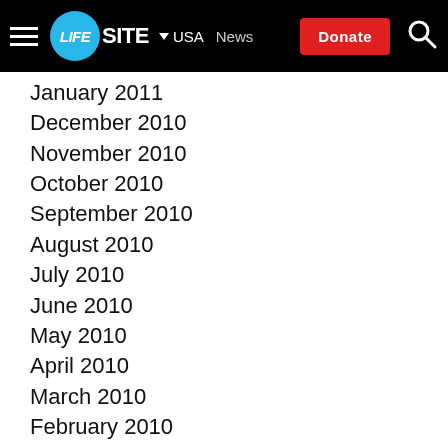LIFESITE | USA | News | Donate
January 2011
December 2010
November 2010
October 2010
September 2010
August 2010
July 2010
June 2010
May 2010
April 2010
March 2010
February 2010
January 2010
December 2009
November 2009
October 2009
September 2009